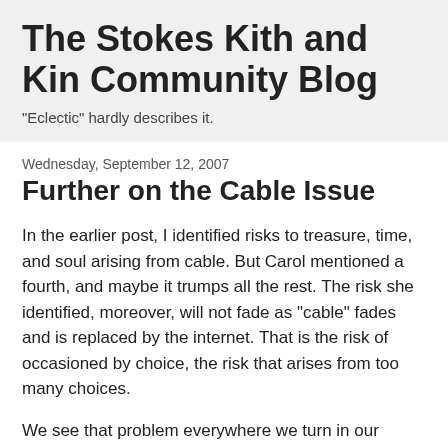The Stokes Kith and Kin Community Blog
"Eclectic" hardly describes it.
Wednesday, September 12, 2007
Further on the Cable Issue
In the earlier post, I identified risks to treasure, time, and soul arising from cable. But Carol mentioned a fourth, and maybe it trumps all the rest. The risk she identified, moreover, will not fade as "cable" fades and is replaced by the internet. That is the risk of occasioned by choice, the risk that arises from too many choices.
We see that problem everywhere we turn in our culture. Variety as a value seems to replace substance. We want many friends, not a treasured few whom we have the